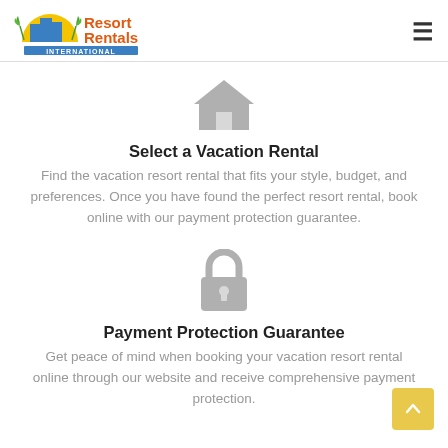Resort Rentals International
[Figure (illustration): Gray house/home icon]
Select a Vacation Rental
Find the vacation resort rental that fits your style, budget, and preferences. Once you have found the perfect resort rental, book online with our payment protection guarantee.
[Figure (illustration): Gray padlock/security icon]
Payment Protection Guarantee
Get peace of mind when booking your vacation resort rental online through our website and receive comprehensive payment protection.